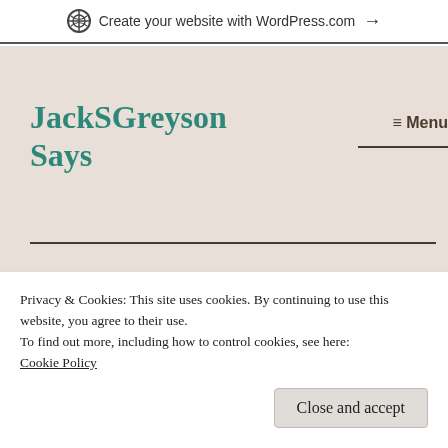Create your website with WordPress.com →
JackSGreyson Says
≡ Menu
Dialectic (The Eros and
Privacy & Cookies: This site uses cookies. By continuing to use this website, you agree to their use.
To find out more, including how to control cookies, see here: Cookie Policy
Close and accept